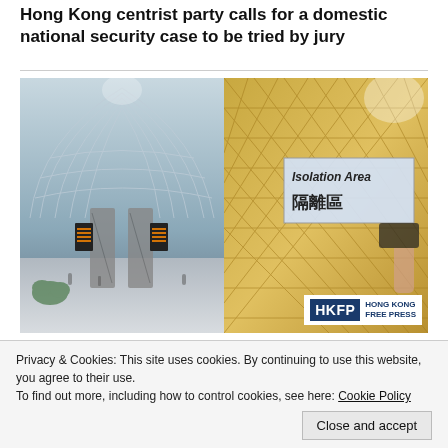Hong Kong centrist party calls for a domestic national security case to be tried by jury
[Figure (photo): Split photo: left side shows a large airport terminal interior with arched ceiling and escalators; right side shows an 'Isolation Area / 隔離區' sign in a gold-latticed enclosure, with HKFP Hong Kong Free Press logo overlay]
3 more Hongkongers detained overseas, official says, amid reports of Covid rules blocking alleged victims' return
Privacy & Cookies: This site uses cookies. By continuing to use this website, you agree to their use.
To find out more, including how to control cookies, see here: Cookie Policy
Close and accept